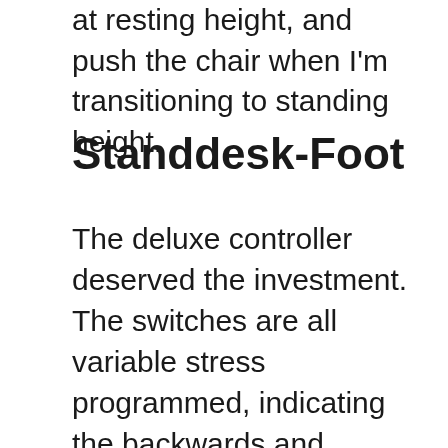at resting height, and push the chair when I'm transitioning to standing height.
Standdesk-Foot
The deluxe controller deserved the investment. The switches are all variable stress programmed, indicating the backwards and forwards arrowheads will certainly adjust the elevation by 1/10th of an inch with a solitary press, or constantly readjust the elevation by around 0.7 inches per second if you hold the switch for two secs. The memory switches are similar in design: push to remember the elevation setting, or hold the button down for five seconds to store a new elevation value. I'm using button 1 for my resting placement and